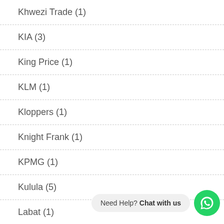Khwezi Trade (1)
KIA (3)
King Price (1)
KLM (1)
Kloppers (1)
Knight Frank (1)
KPMG (1)
Kulula (5)
Labat (1)
Labat Africa (1)
Need Help? Chat with us